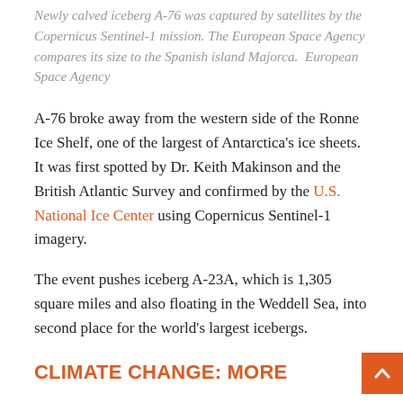Newly calved iceberg A-76 was captured by satellites by the Copernicus Sentinel-1 mission. The European Space Agency compares its size to the Spanish island Majorca. European Space Agency
A-76 broke away from the western side of the Ronne Ice Shelf, one of the largest of Antarctica's ice sheets. It was first spotted by Dr. Keith Makinson and the British Atlantic Survey and confirmed by the U.S. National Ice Center using Copernicus Sentinel-1 imagery.
The event pushes iceberg A-23A, which is 1,305 square miles and also floating in the Weddell Sea, into second place for the world's largest icebergs.
CLIMATE CHANGE: MORE
Iceberg A68a, which was at one point the world's largest, was set on a collision course with a remote South Atlantic island last November, threatening the home of thousands of penguins and other wildlife, but broke into smaller chunks